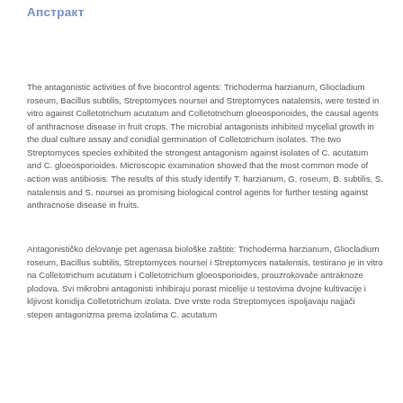Апстракт
The antagonistic activities of five biocontrol agents: Trichoderma harzianum, Gliocladium roseum, Bacillus subtilis, Streptomyces noursei and Streptomyces natalensis, were tested in vitro against Colletotrichum acutatum and Colletotrichum gloeosporioides, the causal agents of anthracnose disease in fruit crops. The microbial antagonists inhibited mycelial growth in the dual culture assay and conidial germination of Colletotrichum isolates. The two Streptomyces species exhibited the strongest antagonism against isolates of C. acutatum and C. gloeosporioides. Microscopic examination showed that the most common mode of action was antibiosis. The results of this study identify T. harzianum, G. roseum, B. subtilis, S. natalensis and S. noursei as promising biological control agents for further testing against anthracnose disease in fruits.
Antagonističko delovanje pet agenasa biološke zaštite: Trichoderma harzianum, Gliocladium roseum, Bacillus subtilis, Streptomyces noursei i Streptomyces natalensis, testirano je in vitro na Colletotrichum acutatum i Colletotrichum gloeosporioides, prouzrokovače antraknoze plodova. Svi mikrobni antagonisti inhibiraju porast micelije u testovima dvojne kultivacije i kljivost konidija Colletotrichum izolata. Dve vrste roda Streptomyces ispoljavaju najjači stepen antagonizma prema izolatima C. acutatum